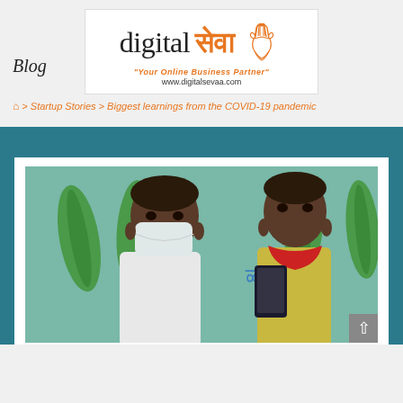[Figure (logo): Digital Seva logo with praying hands icon, tagline 'Your Online Business Partner' and URL www.digitalsevaa.com]
Blog
🏠 > Startup Stories > Biggest learnings from the COVID-19 pandemic
[Figure (photo): Two children standing in front of a painted wall. One child wears a white mask and light shirt; the other holds a smartphone and wears a red face covering. Background shows green leaf/plant motifs and text in Devanagari script.]